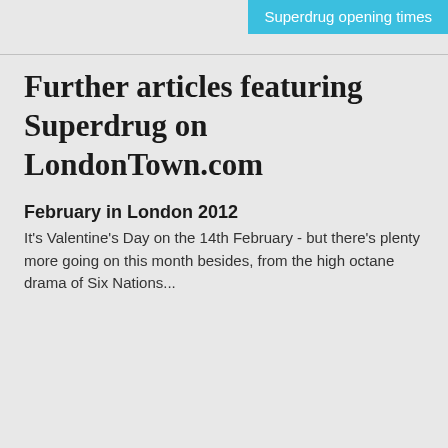Superdrug opening times
Further articles featuring Superdrug on LondonTown.com
February in London 2012
It's Valentine's Day on the 14th February - but there's plenty more going on this month besides, from the high octane drama of Six Nations...